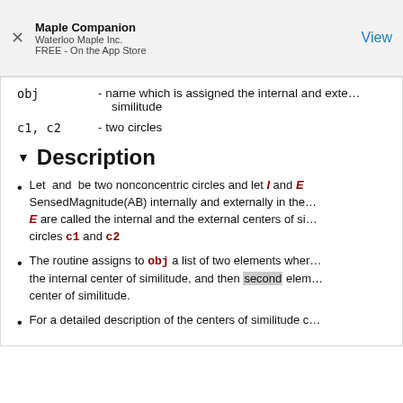Maple Companion
Waterloo Maple Inc.
FREE - On the App Store
View
obj  - name which is assigned the internal and external centers of similitude
c1, c2  - two circles
▼ Description
Let  and  be two nonconcentric circles and let I and E ... SensedMagnitude(AB) internally and externally in the ... E are called the internal and the external centers of similitude of circles c1 and c2
The routine assigns to obj a list of two elements where... the internal center of similitude, and then second element... center of similitude.
For a detailed description of the centers of similitude c...